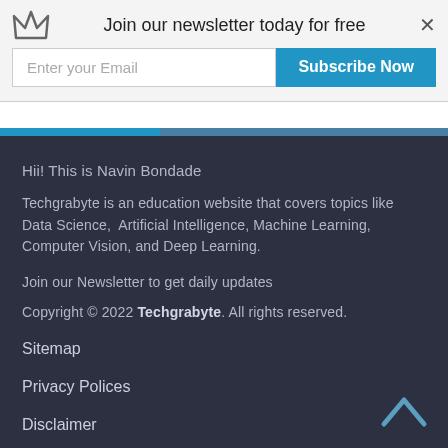[Figure (screenshot): Newsletter popup with crown icon, title 'Join our newsletter today for free', email input field, and blue 'Subscribe Now' button, with an X close button]
Hii! This is Navin Bondade
Techgrabyte is an education website that covers topics like Data Science, Artificial Intelligence, Machine Learning, Computer Vision, and Deep Learning.
Join our Newsletter to get daily updates
Copyright © 2022 Techgrabyte. All rights reserved.
Sitemap
Privacy Polices
Disclaimer
Contact Us
About Us